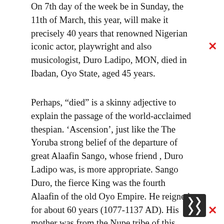On 7th day of the week be in Sunday, the 11th of March, this year, will make it precisely 40 years that renowned Nigerian iconic actor, playwright and also musicologist, Duro Ladipo, MON, died in Ibadan, Oyo State, aged 45 years.
Perhaps, “died” is a skinny adjective to explain the passage of the world-acclaimed thespian. ‘Ascension’, just like the The Yoruba strong belief of the departure of great Alaafin Sango, whose friend , Duro Ladipo was, is more appropriate. Sango Duro, the fierce King was the fourth Alaafin of the old Oyo Empire. He reigned for about 60 years (1077-1137 AD). His mother was from the Nupe tribe of this Niger State of Nigeria. In those days Sango used to be a strong and feared king with great respect, who the Yoruba, and his devotees in the diaspora (Brazil, Cuba, USA, South America, West Africa, and India) foreign-laid